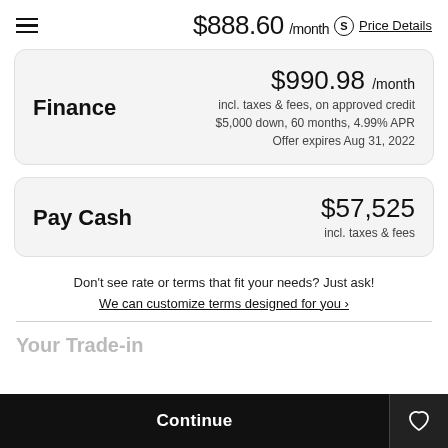$888.60 /month  Price Details
Finance
$990.98 /month
incl. taxes & fees, on approved credit
$5,000 down, 60 months, 4.99% APR
Offer expires Aug 31, 2022
Pay Cash
$57,525
incl. taxes & fees
Don't see rate or terms that fit your needs? Just ask!
We can customize terms designed for you ›
Your Trade-in
Continue